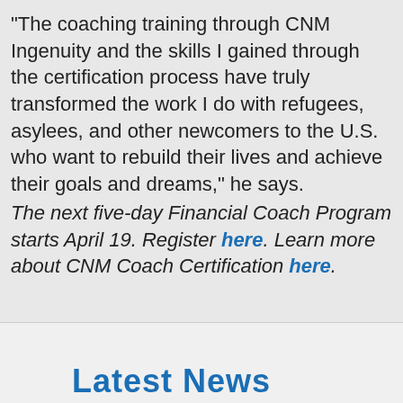"The coaching training through CNM Ingenuity and the skills I gained through the certification process have truly transformed the work I do with refugees, asylees, and other newcomers to the U.S. who want to rebuild their lives and achieve their goals and dreams," he says.
The next five-day Financial Coach Program starts April 19. Register here. Learn more about CNM Coach Certification here.
Latest News